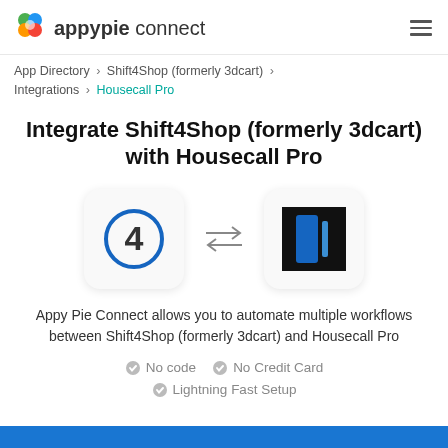appypie connect
App Directory > Shift4Shop (formerly 3dcart) > Integrations > Housecall Pro
Integrate Shift4Shop (formerly 3dcart) with Housecall Pro
[Figure (illustration): Shift4Shop logo (number 4 in a blue circle) with double-headed arrows pointing right and left, and Housecall Pro logo (blue book icon on black background)]
Appy Pie Connect allows you to automate multiple workflows between Shift4Shop (formerly 3dcart) and Housecall Pro
No code
No Credit Card
Lightning Fast Setup